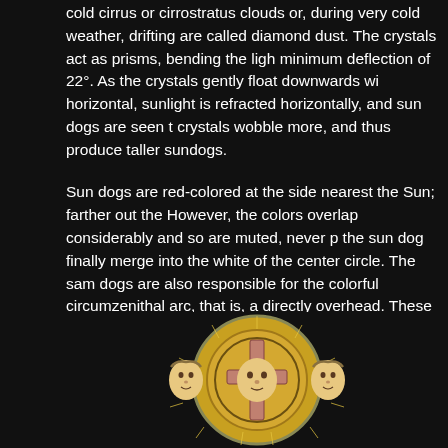cold cirrus or cirrostratus clouds or, during very cold weather, drifting are called diamond dust. The crystals act as prisms, bending the ligh minimum deflection of 22°. As the crystals gently float downwards wi horizontal, sunlight is refracted horizontally, and sun dogs are seen t crystals wobble more, and thus produce taller sundogs.
Sun dogs are red-colored at the side nearest the Sun; farther out the However, the colors overlap considerably and so are muted, never p the sun dog finally merge into the white of the center circle. The sam dogs are also responsible for the colorful circumzenithal arc, that is, a directly overhead. These two types of halo tend to occur, the latter of located more or less directly overhead. Another halo variety often see which forms a ring at roughly the same angular distance from the sun interconnect them.
[Figure (illustration): Medieval woodcut or illuminated illustration showing three faces (sun dogs phenomenon) in a circular arrangement with halos and a cross in the center, on a yellow/gold circular background with radiating lines.]